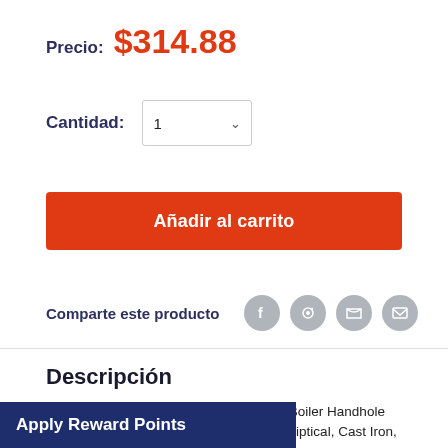Precio: $314.88
Cantidad: 1
Añadir al carrito
Comparte este producto
Descripción
(PHHORS4002C) O&S Powermaster Boiler Handhole Assembly, Less Ring, 3-3/4 X 3-5/8, Elliptical, Cast Iron, Curved, Solid Bo...
Apply Reward Points